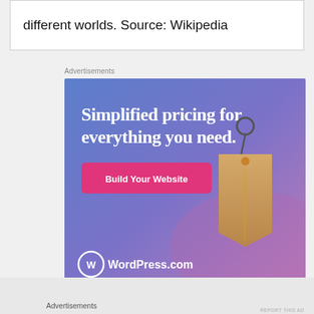different worlds. Source: Wikipedia
Advertisements
[Figure (screenshot): WordPress.com advertisement: 'Simplified pricing for everything you need.' with a 'Build Your Website' button and a price tag graphic on a blue-purple gradient background, with WordPress.com logo at bottom left.]
Advertisements